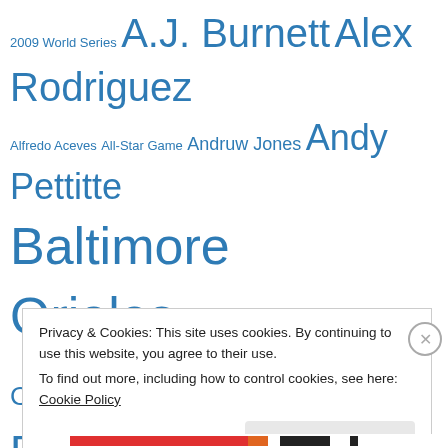2009 World Series A.J. Burnett Alex Rodriguez Alfredo Aceves All-Star Game Andruw Jones Andy Pettitte Baltimore Orioles Bartolo Colon Boone Logan Boston Red Sox Brett Gardner CC Sabathia Chad Gaudin Chan Ho Park Chicago White Sox Cleveland Indians Cory Wade Current Standings Curtis Granderson Damaso Marte David Phelps David
Privacy & Cookies: This site uses cookies. By continuing to use this website, you agree to their use. To find out more, including how to control cookies, see here: Cookie Policy
Close and accept